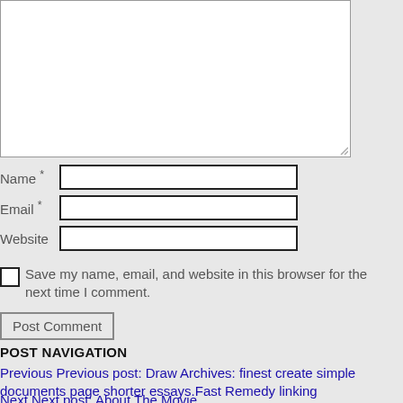[Figure (screenshot): Comment form textarea (white box, partially visible at top)]
Name *
Email *
Website
Save my name, email, and website in this browser for the next time I comment.
Post Comment
POST NAVIGATION
Previous Previous post: Draw Archives: finest create simple documents page shorter essays.Fast Remedy linking
Next Next post: About The Movie